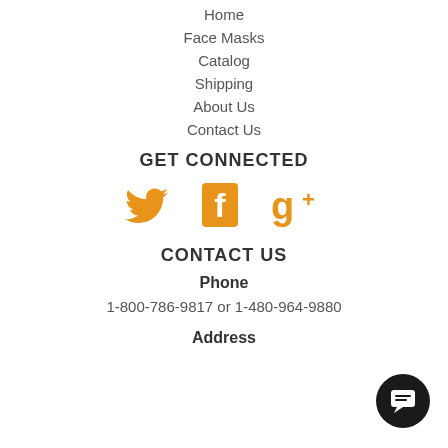Home
Face Masks
Catalog
Shipping
About Us
Contact Us
GET CONNECTED
[Figure (illustration): Social media icons: Twitter bird (orange), Facebook f (orange), Google+ (orange)]
CONTACT US
Phone
1-800-786-9817 or 1-480-964-9880
Address